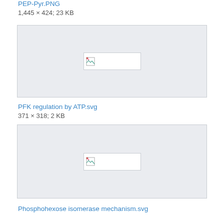PEP-Pyr.PNG
1,445 × 424; 23 KB
[Figure (illustration): Broken image placeholder for PEP-Pyr.PNG]
PFK regulation by ATP.svg
371 × 318; 2 KB
[Figure (illustration): Broken image placeholder for PFK regulation by ATP.svg]
Phosphohexose isomerase mechanism.svg